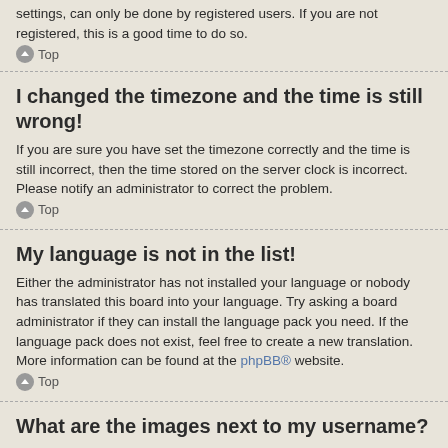settings, can only be done by registered users. If you are not registered, this is a good time to do so.
Top
I changed the timezone and the time is still wrong!
If you are sure you have set the timezone correctly and the time is still incorrect, then the time stored on the server clock is incorrect. Please notify an administrator to correct the problem.
Top
My language is not in the list!
Either the administrator has not installed your language or nobody has translated this board into your language. Try asking a board administrator if they can install the language pack you need. If the language pack does not exist, feel free to create a new translation. More information can be found at the phpBB® website.
Top
What are the images next to my username?
There are two images which may appear along with a username when viewing posts. One of them may be an image associated with your rank